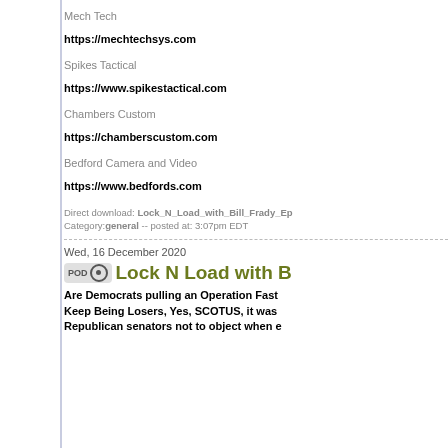Mech Tech
https://mechtechsys.com
Spikes Tactical
https://www.spikestactical.com
Chambers Custom
https://chamberscustom.com
Bedford Camera and Video
https://www.bedfords.com
Direct download: Lock_N_Load_with_Bill_Frady_Ep Category:general -- posted at: 3:07pm EDT
Wed, 16 December 2020
Lock N Load with B
Are Democrats pulling an Operation Fast... Keep Being Losers, Yes, SCOTUS, it was... Republican senators not to object when e...